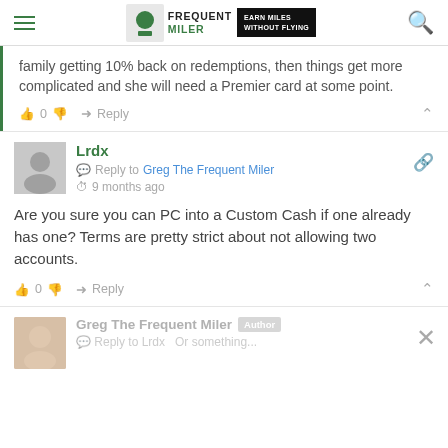Frequent Miler — Earn Miles Without Flying
family getting 10% back on redemptions, then things get more complicated and she will need a Premier card at some point.
👍 0 👎  ➜ Reply
Lrdx
Reply to Greg The Frequent Miler
9 months ago
Are you sure you can PC into a Custom Cash if one already has one? Terms are pretty strict about not allowing two accounts.
👍 0 👎  ➜ Reply
Greg The Frequent Miler  Author
Reply to Lrdx  Or something...